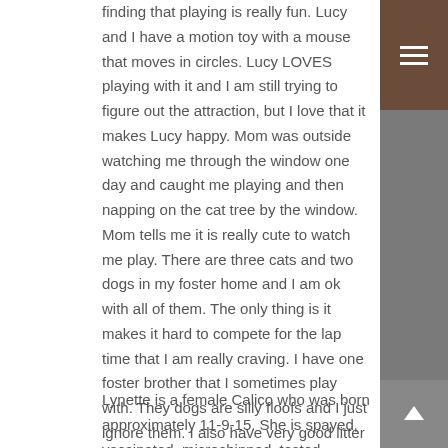finding that playing is really fun. Lucy and I have a motion toy with a mouse that moves in circles. Lucy LOVES playing with it and I am still trying to figure out the attraction, but I love that it makes Lucy happy. Mom was outside watching me through the window one day and caught me playing and then napping on the cat tree by the window. Mom tells me it is really cute to watch me play. There are three cats and two dogs in my foster home and I am ok with all of them. The only thing is it makes it hard to compete for the lap time that I am really craving. I have one foster brother that I sometimes play with. They dogs are silly floofs and I just ignore them. I also have very good litter box manners. We really love our foster mom but sure do want our very own family where we can spend the rest of our lives. Will you please be that family? WE BOTH THINK THAT WOULD BE A GREAT EARLY CHRISTMAS PRESENT!!!
Lynette is a female Calico who was born approximately 11-9-15. She is spayed, vaccinated, microchipped, tested